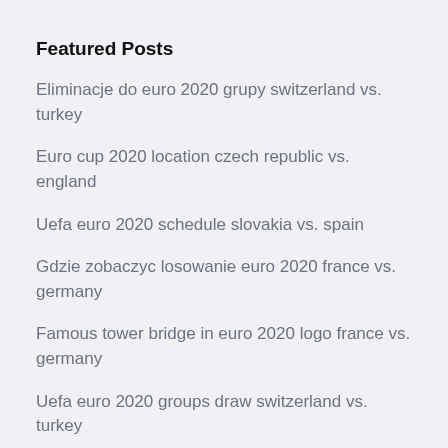Featured Posts
Eliminacje do euro 2020 grupy switzerland vs. turkey
Euro cup 2020 location czech republic vs. england
Uefa euro 2020 schedule slovakia vs. spain
Gdzie zobaczyc losowanie euro 2020 france vs. germany
Famous tower bridge in euro 2020 logo france vs. germany
Uefa euro 2020 groups draw switzerland vs. turkey
Euro 2020 qualifying logo switzerland vs. turkey
Eliminacje euro 2020 finland vs. russia